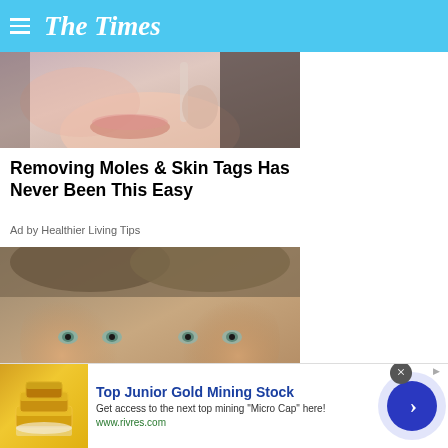The Times
[Figure (photo): Close-up photo of a woman's lower face/lips holding a small skincare tool]
Removing Moles & Skin Tags Has Never Been This Easy
Ad by Healthier Living Tips
[Figure (photo): Photo of two young identical twin girls with blue/green eyes and brown hair, posed close together]
[Figure (photo): Advertisement banner with gold bar image for Top Junior Gold Mining Stock]
Top Junior Gold Mining Stock
Get access to the next top mining "Micro Cap" here!
www.rivres.com